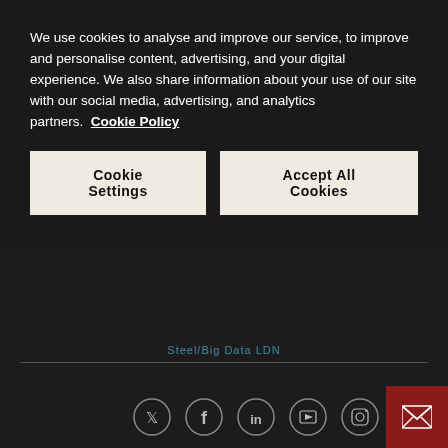We use cookies to analyse and improve our service, to improve and personalise content, advertising, and your digital experience. We also share information about your use of our site with our social media, advertising, and analytics partners.  Cookie Policy
Cookie Settings | Accept All Cookies
Steel/Big Data LDN
Most commentators agree that migrating legacy data infrastructure, such as data warehousing, integration and transformation, into modern cloud-based architectures will significantly benefit both business and IT stakeholders. Many projects, however, fail to secure funding because their time to value is
[Figure (other): Social media icons: Twitter, Facebook, LinkedIn, YouTube, Instagram, and a red email button]